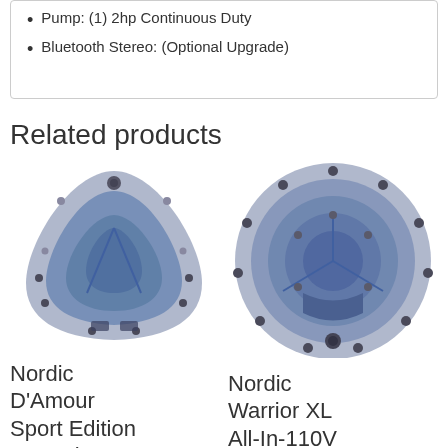Pump: (1) 2hp Continuous Duty
Bluetooth Stereo: (Optional Upgrade)
Related products
[Figure (photo): Top-down view of Nordic D'Amour Sport Edition hot tub, triangular shape, blue/grey color]
[Figure (photo): Top-down view of Nordic Warrior XL All-In-110V Series hot tub, circular shape, blue/grey color]
Nordic D'Amour Sport Edition Hot Tub
Nordic Warrior XL All-In-110V Series Hot